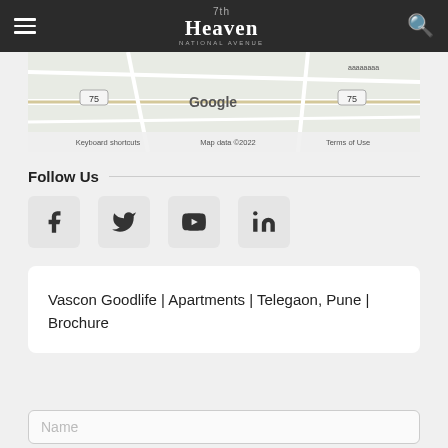7th Heaven | National Avenue
[Figure (map): Google Maps embed showing road/area map with road number 75 visible, Google branding, and text: Keyboard shortcuts, Map data ©2022, Terms of Use]
Follow Us
[Figure (infographic): Social media icons: Facebook, Twitter, YouTube, LinkedIn in rounded square boxes]
Vascon Goodlife | Apartments | Telegaon, Pune | Brochure
Name